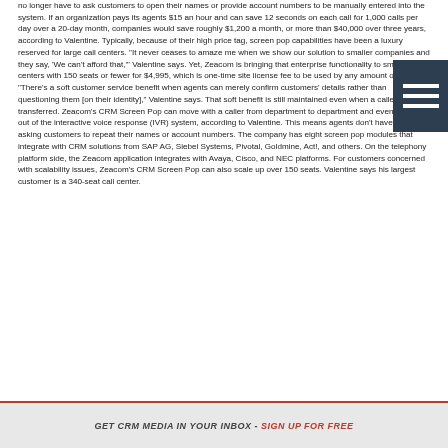no longer have to ask customers to open their names or provide account numbers to be manually entered into the system. If an organization pays its agents $15 an hour and can save 12 seconds on each call for 1,000 calls per day over a 20-day month, companies would save roughly $1,200 a month, or more than $40,000 over three years, according to Valentine. Typically, because of their high price tag, screen pop capabilities have been a luxury reserved for large call centers. "It never ceases to amaze me when we show our solution to smaller companies and they say, 'We can't afford that,'" Valentine says. Yet, Zeacom is bringing that enterprise functionality to smaller call centers with 150 seats or fewer for $4,995, which is one-time site license fee to be used by any amount of agents. "There's a soft customer service benefit when agents can merely confirm customers' details rather than questioning them [on their identity]," Valentine says. That soft benefit is still maintained even when a caller gets transferred. Zeacom's CRM Screen Pop can move with a caller from department to department and even in and out of the interactive voice response (IVR) system, according to Valentine. This means agents don't have to keep asking customers to repeat their names or account numbers. The company has eight screen pop modules that integrate with CRM solutions from SAP AG, Siebel Systems, Pivotal, Goldmine, Act!, and others. On the telephony platform side, the Zeacom application integrates with Avaya, Cisco, and NEC platforms. For customers concerned with scalability issues, Zeacom's CRM Screen Pop can also scale up over 150 seats. Valentine says his largest customer is a 340-seat call center.
GET CRM MEDIA IN YOUR INBOX - SIGN UP FOR FREE